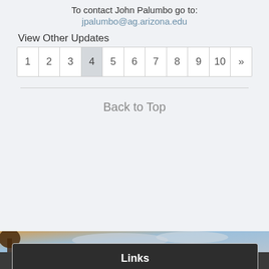To contact John Palumbo go to:
jpalumbo@ag.arizona.edu
View Other Updates
1 2 3 4 5 6 7 8 9 10 »
Back to Top
[Figure (photo): Agricultural field background with sunset sky and farm rows]
Links
Vegetable IPM Updates Archive
Subscribe to the VIPM Update news letter